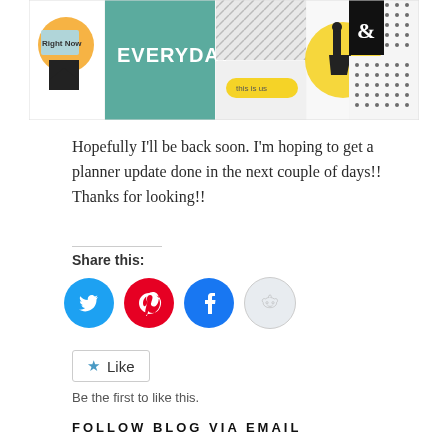[Figure (illustration): Colorful scrapbook/craft blog banner image showing various design elements: 'Right Now' label, 'Everyday' teal tile, 'this is us' yellow label, decorative figures, ampersand symbol, and patterned tiles]
Hopefully I'll be back soon. I'm hoping to get a planner update done in the next couple of days!! Thanks for looking!!
Share this:
[Figure (infographic): Four social media share buttons: Twitter (blue circle), Pinterest (red circle), Facebook (blue circle), Reddit (light circle)]
Like
Be the first to like this.
FOLLOW BLOG VIA EMAIL
Enter your email address to follow this blog and receive notifications of new posts by email.